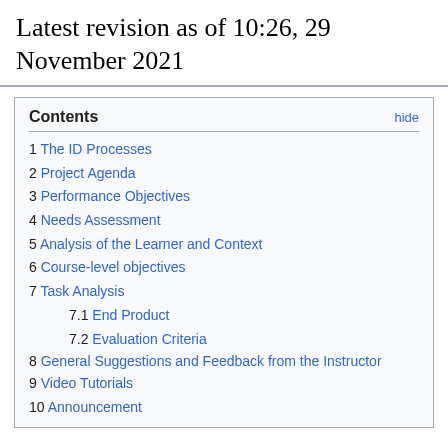Latest revision as of 10:26, 29 November 2021
| Contents | hide |
| --- | --- |
| 1 | The ID Processes |
| 2 | Project Agenda |
| 3 | Performance Objectives |
| 4 | Needs Assessment |
| 5 | Analysis of the Learner and Context |
| 6 | Course-level objectives |
| 7 | Task Analysis |
| 7.1 | End Product |
| 7.2 | Evaluation Criteria |
| 8 | General Suggestions and Feedback from the Instructor |
| 9 | Video Tutorials |
| 10 | Announcement |